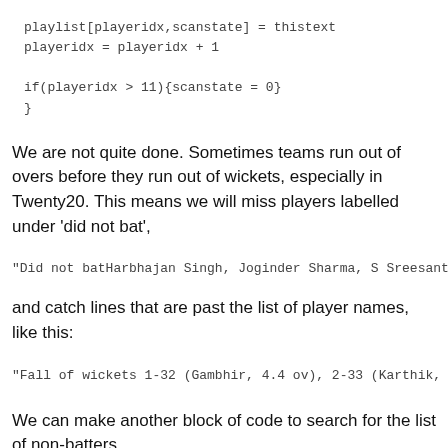playlist[playeridx,scanstate] = thistext
playeridx = playeridx + 1

if(playeridx > 11){scanstate = 0}
}
We are not quite done. Sometimes teams run out of overs before they run out of wickets, especially in Twenty20. This means we will miss players labelled under 'did not bat',
"Did not batHarbhajan Singh, Joginder Sharma, S Sreesanth
and catch lines that are past the list of player names, like this:
"Fall of wickets 1-32 (Gambhir, 4.4 ov), 2-33 (Karthik, 4
We can make another block of code to search for the list of non-batters.